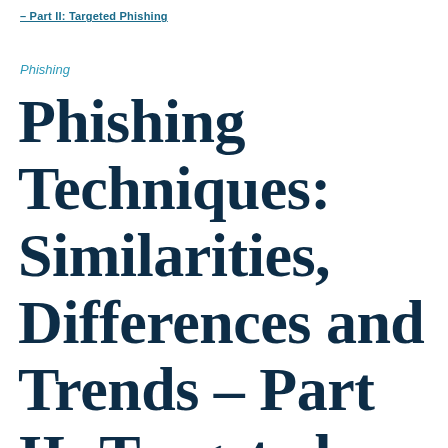– Part II: Targeted Phishing
Phishing
Phishing Techniques: Similarities, Differences and Trends – Part II: Targeted